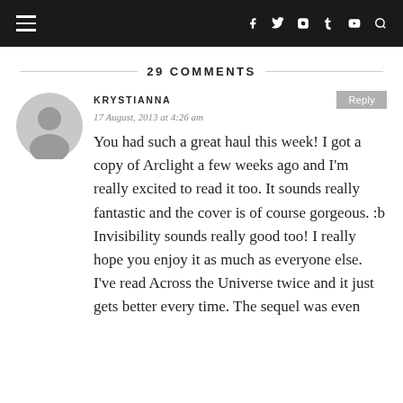Navigation bar with hamburger menu and social icons
29 COMMENTS
KRYSTIANNA
17 August, 2013 at 4:26 am
You had such a great haul this week! I got a copy of Arclight a few weeks ago and I'm really excited to read it too. It sounds really fantastic and the cover is of course gorgeous. :b Invisibility sounds really good too! I really hope you enjoy it as much as everyone else. I've read Across the Universe twice and it just gets better every time. The sequel was even